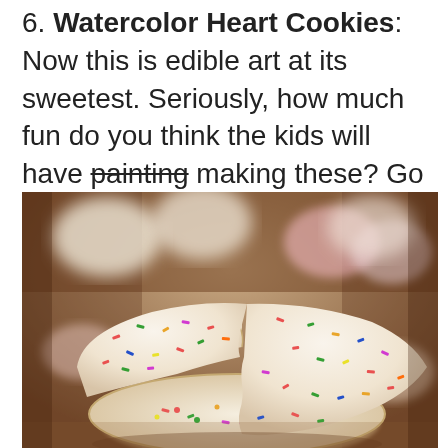6. Watercolor Heart Cookies: Now this is edible art at its sweetest. Seriously, how much fun do you think the kids will have painting making these? Go ahead, grab the recipe from The Sweet Escape and find out for yourself.
[Figure (photo): Close-up photo of funfetti/sprinkle sugar cookies, one broken in half showing colorful sprinkles inside, stacked on top of whole cookies, with blurred heart-shaped cookies in the background]